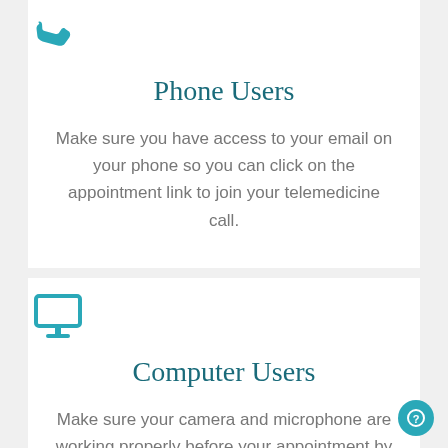[Figure (illustration): Teal phone icon at top of first section]
Phone Users
Make sure you have access to your email on your phone so you can click on the appointment link to join your telemedicine call.
[Figure (illustration): Teal desktop computer monitor icon at top of second section]
Computer Users
Make sure your camera and microphone are working properly before your appointment by clicking by button